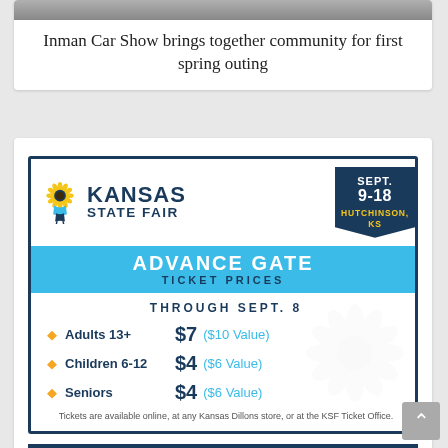[Figure (photo): Top portion of a car show photo, cropped]
Inman Car Show brings together community for first spring outing
[Figure (infographic): Kansas State Fair advance gate ticket prices advertisement. Sept. 9-18, Hutchinson, KS. Advance Gate Ticket Prices through Sept. 8: Adults 13+ $7 ($10 Value), Children 6-12 $4 ($6 Value), Seniors $4 ($6 Value). Tickets available online, at any Kansas Dillons store, or at the KSF Ticket Office. KansasStateFair.com]